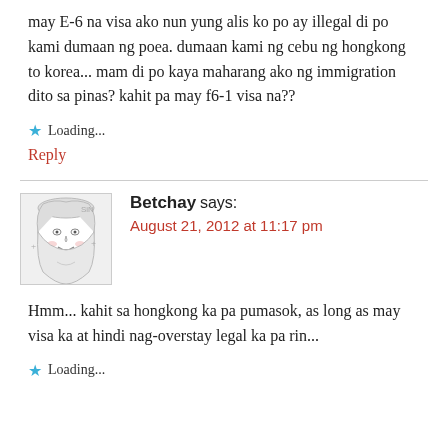may E-6 na visa ako nun yung alis ko po ay illegal di po kami dumaan ng poea. dumaan kami ng cebu ng hongkong to korea... mam di po kaya maharang ako ng immigration dito sa pinas? kahit pa may f6-1 visa na??
Loading...
Reply
Betchay says:
August 21, 2012 at 11:17 pm
Hmm... kahit sa hongkong ka pa pumasok, as long as may visa ka at hindi nag-overstay legal ka pa rin...
Loading...